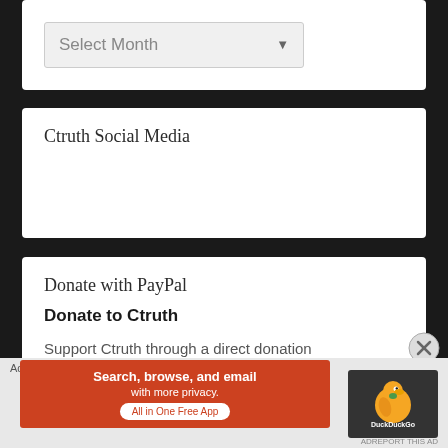[Figure (screenshot): A dropdown widget showing 'Select Month' with a down-arrow button on the right, styled with a light gray background and border.]
Ctruth Social Media
Donate with PayPal
Donate to Ctruth
Support Ctruth through a direct donation
Advertisements
[Figure (screenshot): DuckDuckGo advertisement banner: orange/red background with text 'Search, browse, and email with more privacy. All in One Free App' and the DuckDuckGo duck logo on a dark background.]